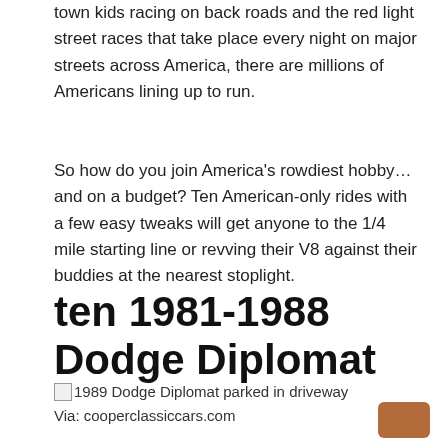town kids racing on back roads and the red light street races that take place every night on major streets across America, there are millions of Americans lining up to run.
So how do you join America’s rowdiest hobby…and on a budget? Ten American-only rides with a few easy tweaks will get anyone to the 1/4 mile starting line or revving their V8 against their buddies at the nearest stoplight.
ten 1981-1988 Dodge Diplomat
[Figure (photo): 1989 Dodge Diplomat parked in driveway (image placeholder shown)]
Via: cooperclassiccars.com